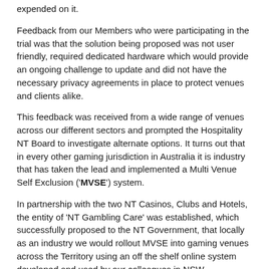expended on it.
Feedback from our Members who were participating in the trial was that the solution being proposed was not user friendly, required dedicated hardware which would provide an ongoing challenge to update and did not have the necessary privacy agreements in place to protect venues and clients alike.
This feedback was received from a wide range of venues across our different sectors and prompted the Hospitality NT Board to investigate alternate options. It turns out that in every other gaming jurisdiction in Australia it is industry that has taken the lead and implemented a Multi Venue Self Exclusion ('MVSE') system.
In partnership with the two NT Casinos, Clubs and Hotels, the entity of 'NT Gambling Care' was established, which successfully proposed to the NT Government, that locally as an industry we would rollout MVSE into gaming venues across the Territory using an off the shelf online system developed and used by our colleagues in NSW.
"NT Gambling Care is a big step in the right direction for dealing with addictive behaviours and gaming machines…I commend the Territory's pubs and clubs for taking this